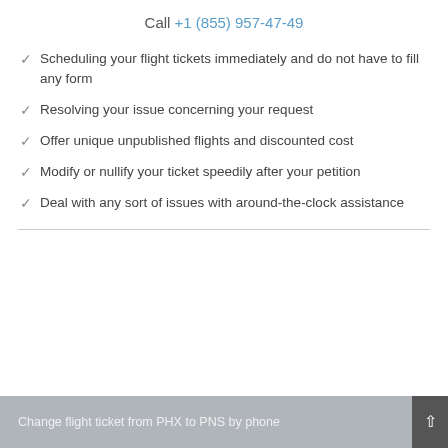Call +1 (855) 957-47-49
Scheduling your flight tickets immediately and do not have to fill any form
Resolving your issue concerning your request
Offer unique unpublished flights and discounted cost
Modify or nullify your ticket speedily after your petition
Deal with any sort of issues with around-the-clock assistance
Change flight ticket from PHX to PNS by phone